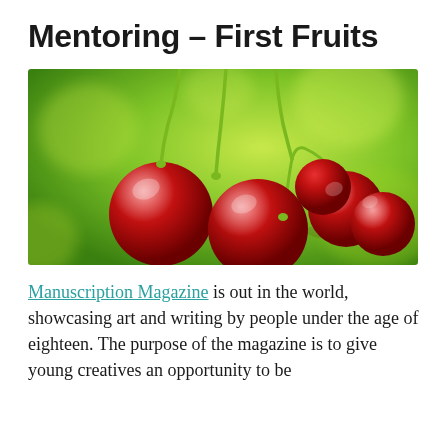Mentoring – First Fruits
[Figure (photo): Close-up photograph of several bright red cherries hanging by green stems against a blurred green background.]
Manuscription Magazine is out in the world, showcasing art and writing by people under the age of eighteen. The purpose of the magazine is to give young creatives an opportunity to be